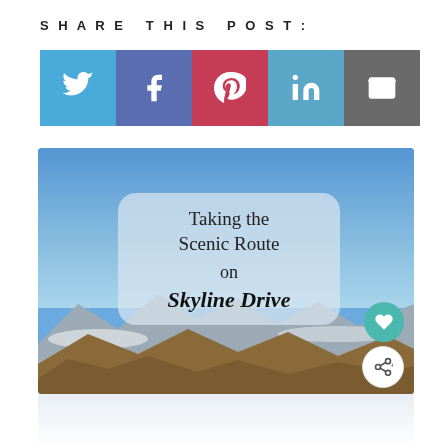SHARE THIS POST:
[Figure (infographic): Social share buttons: Twitter (blue bird icon), Facebook (dark blue F icon), Pinterest (red P icon), LinkedIn (light blue in icon), Email (gray envelope icon)]
[Figure (photo): Outdoor scenic mountain landscape photo showing blue sky with text overlay reading 'Taking the Scenic Route on Skyline Drive' in a semi-transparent rounded rectangle. Mountain ridges with autumn foliage visible at bottom. Teal heart button and white share button overlaid at right side.]